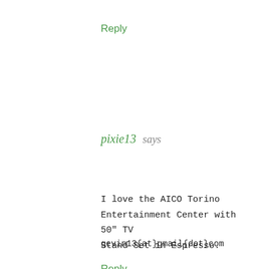Reply
pixie13 says
I love the AICO Torino Entertainment Center with 50" TV Stand Set in Espresso.
gevin13{at}gmail{dot}com
Reply